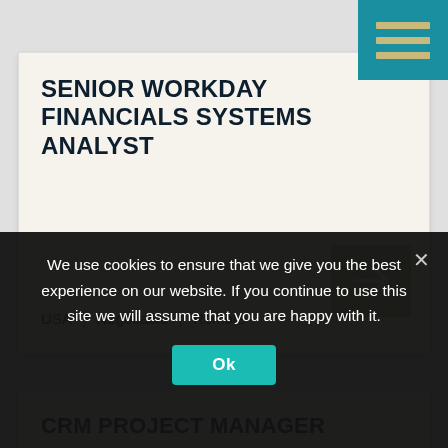[Figure (other): Teal hamburger menu icon with three tan/gold horizontal bars in top-right corner]
SENIOR WORKDAY FINANCIALS SYSTEMS ANALYST
USA | Negotiable | Remote
CRM PROJECT MANAGER
England | Verhandelbar | Remote
We use cookies to ensure that we give you the best experience on our website. If you continue to use this site we will assume that you are happy with it.
Ok